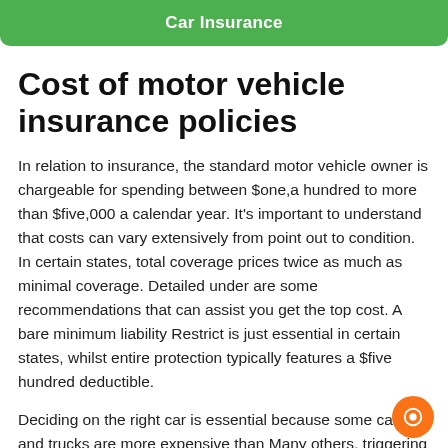Car Insurance
Cost of motor vehicle insurance policies
In relation to insurance, the standard motor vehicle owner is chargeable for spending between $one,a hundred to more than $five,000 a calendar year. It's important to understand that costs can vary extensively from point out to condition. In certain states, total coverage prices twice as much as minimal coverage. Detailed under are some recommendations that can assist you get the top cost. A bare minimum liability Restrict is just essential in certain states, whilst entire protection typically features a $five hundred deductible.
Deciding on the right car is essential because some cars and trucks are more expensive than Many others, triggering